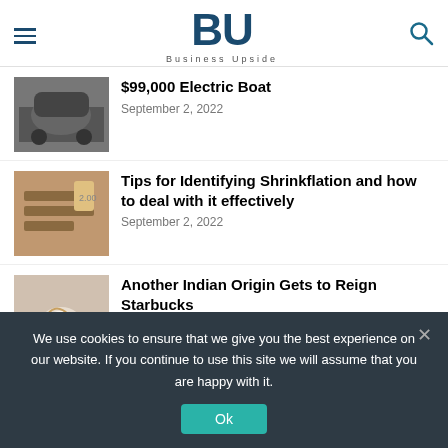BU — Business Upside
$99,000 Electric Boat — September 2, 2022
Tips for Identifying Shrinkflation and how to deal with it effectively — September 2, 2022
Another Indian Origin Gets to Reign Starbucks — September 2, 2022
(partial article title visible)
We use cookies to ensure that we give you the best experience on our website. If you continue to use this site we will assume that you are happy with it.